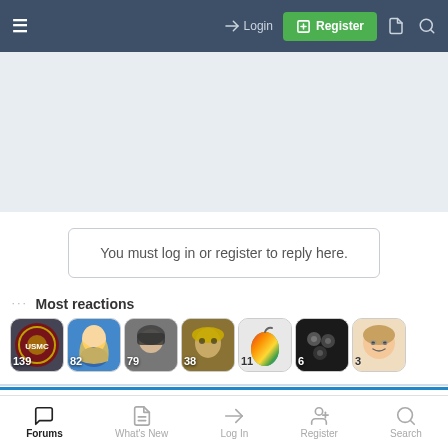☰  → Login  ⊞ Register  □  🔍
[Figure (screenshot): Gray banner/advertisement area]
You must log in or register to reply here.
··· Most reactions
[Figure (photo): Row of 7 user avatars with reaction counts: 139, 82, 79, 38, 11, 6, 3]
Similar threads
Forums   What's New   Log In   Register   Search